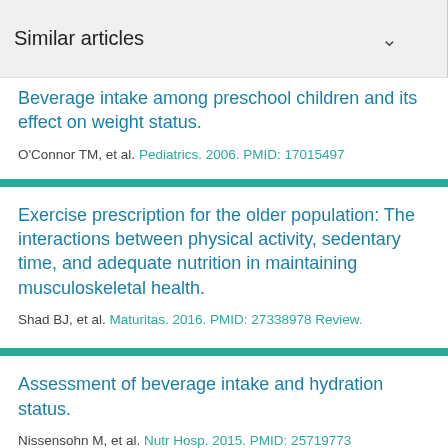Similar articles
Beverage intake among preschool children and its effect on weight status.
O'Connor TM, et al. Pediatrics. 2006. PMID: 17015497
Exercise prescription for the older population: The interactions between physical activity, sedentary time, and adequate nutrition in maintaining musculoskeletal health.
Shad BJ, et al. Maturitas. 2016. PMID: 27338978 Review.
Assessment of beverage intake and hydration status.
Nissensohn M, et al. Nutr Hosp. 2015. PMID: 25719773 Review.